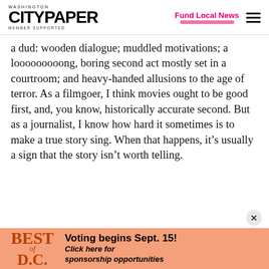WASHINGTON CITYPAPER MEMBER SUPPORTED | Fund Local News
a dud: wooden dialogue; muddled motivations; a looooooooong, boring second act mostly set in a courtroom; and heavy-handed allusions to the age of terror. As a filmgoer, I think movies ought to be good first, and, you know, historically accurate second. But as a journalist, I know how hard it sometimes is to make a true story sing. When that happens, it’s usually a sign that the story isn’t worth telling.
[Figure (infographic): Best of D.C. advertisement banner with orange background. Text reads: BEST of D.C. - Voting begins Sept. 15! Click here for sponsorship opportunities]